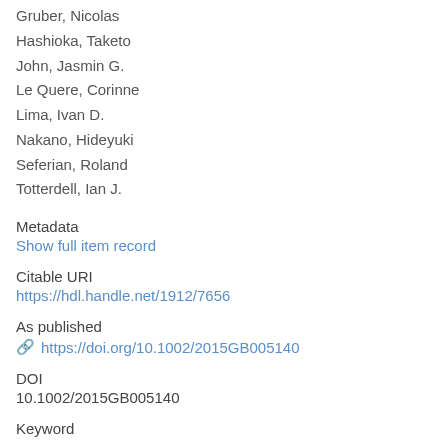Gruber, Nicolas
Hashioka, Taketo
John, Jasmin G.
Le Quere, Corinne
Lima, Ivan D.
Nakano, Hideyuki
Seferian, Roland
Totterdell, Ian J.
Metadata
Show full item record
Citable URI
https://hdl.handle.net/1912/7656
As published
🔗 https://doi.org/10.1002/2015GB005140
DOI
10.1002/2015GB005140
Keyword